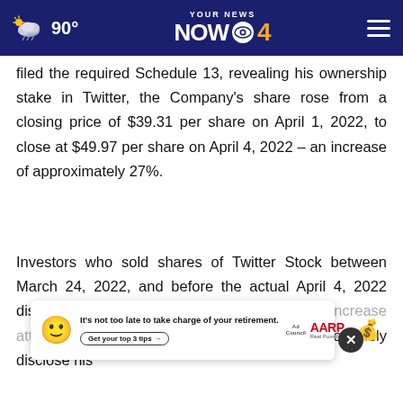YOUR NEWS NOW 4 — 90°
filed the required Schedule 13, revealing his ownership stake in Twitter, the Company's share rose from a closing price of $39.31 per share on April 1, 2022, to close at $49.97 per share on April 4, 2022 – an increase of approximately 27%.
Investors who sold shares of Twitter Stock between March 24, 2022, and before the actual April 4, 2022 disclosure, missed the resulting share price increase attributed to Musk's purchases. By failing to timely disclose his
[Figure (screenshot): AARP advertisement banner: 'It's not too late to take charge of your retirement. Get your top 3 tips →' with AARP logo and Ad Council badge]